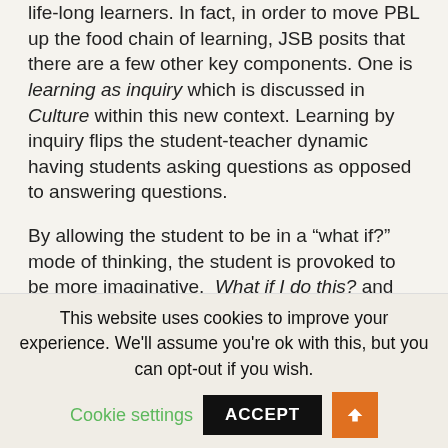life-long learners. In fact, in order to move PBL up the food chain of learning, JSB posits that there are a few other key components. One is learning as inquiry which is discussed in Culture within this new context. Learning by inquiry flips the student-teacher dynamic having students asking questions as opposed to answering questions.

By allowing the student to be in a “what if?” mode of thinking, the student is provoked to be more imaginative. What if I do this? and What if I do that? is
This website uses cookies to improve your experience. We'll assume you're ok with this, but you can opt-out if you wish.